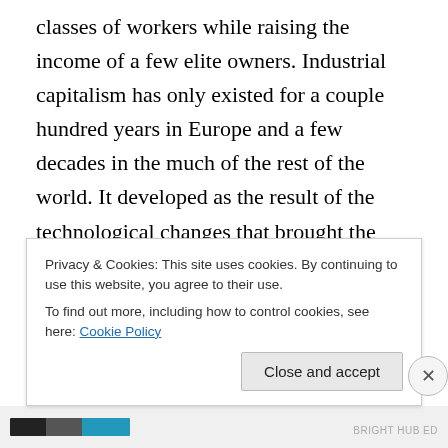classes of workers while raising the income of a few elite owners. Industrial capitalism has only existed for a couple hundred years in Europe and a few decades in the much of the rest of the world. It developed as the result of the technological changes that brought the industrial revolution.  The developing nations of the world are still waiting for this revolution to come. The whole point of economic development in the third world is for poor countries to figure out how to copy the industrial revolution that made the industrialized world rich. Now many scholars think that we are entering a post-industrial age
Privacy & Cookies: This site uses cookies. By continuing to use this website, you agree to their use.
To find out more, including how to control cookies, see here: Cookie Policy